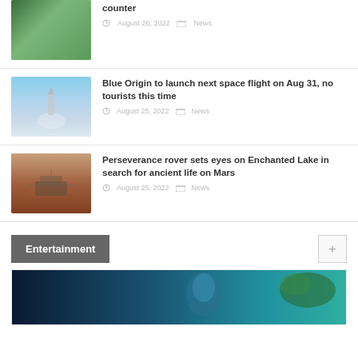... counter | August 26, 2022 | News
Blue Origin to launch next space flight on Aug 31, no tourists this time | August 25, 2022 | News
Perseverance rover sets eyes on Enchanted Lake in search for ancient life on Mars | August 25, 2022 | News
Entertainment
[Figure (photo): Avatar-style image with blue alien figure and green flying creature]